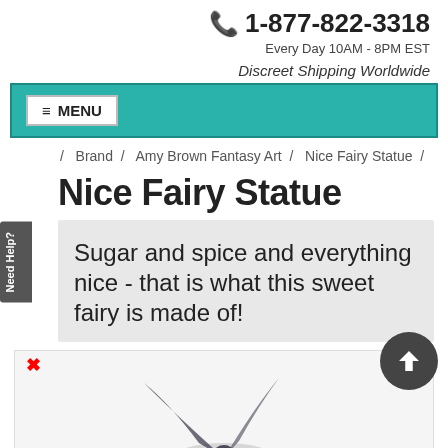☎ 1-877-822-3318
Every Day 10AM - 8PM EST
Discreet Shipping Worldwide
≡ MENU
/ Brand / Amy Brown Fantasy Art / Nice Fairy Statue /
Nice Fairy Statue
Sugar and spice and everything nice - that is what this sweet fairy is made of!
[Figure (illustration): Partial view of a dark-winged fairy figurine/statue at the bottom of the page]